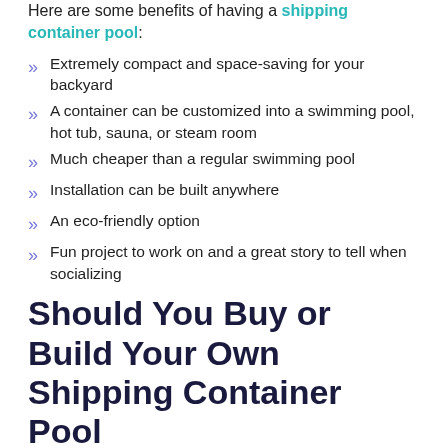Here are some benefits of having a shipping container pool:
Extremely compact and space-saving for your backyard
A container can be customized into a swimming pool, hot tub, sauna, or steam room
Much cheaper than a regular swimming pool
Installation can be built anywhere
An eco-friendly option
Fun project to work on and a great story to tell when socializing
Should You Buy or Build Your Own Shipping Container Pool
There is the option to buy a pre-made shipping